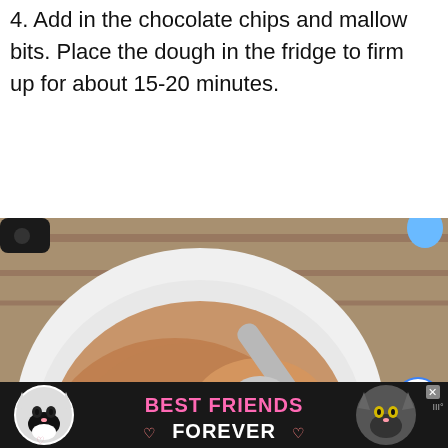4. Add in the chocolate chips and mallow bits. Place the dough in the fridge to firm up for about 15-20 minutes.
[Figure (photo): A white bowl containing cookie dough topped with chocolate chips and mini marshmallow bits, with a metal spoon resting in it. The bowl sits on a wooden surface. Social sharing UI elements (heart icon, share icon, count '1') visible on the right edge. A 'WHAT'S NEXT → Corned Beef and Cabbag...' thumbnail preview in the bottom-right corner.]
[Figure (infographic): Advertisement banner with black background showing two tuxedo cats and the text 'BEST FRIENDS FOREVER' in bold pink/white letters with heart symbols. A close (X) button and a weather widget icon are visible on the right.]